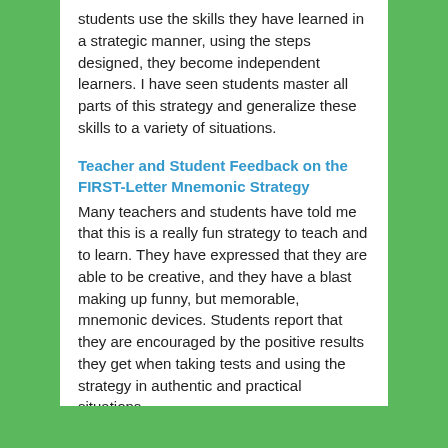students use the skills they have learned in a strategic manner, using the steps designed, they become independent learners. I have seen students master all parts of this strategy and generalize these skills to a variety of situations.
Teacher and Student Feedback on the FIRST-Letter Mnemonic Strategy
Many teachers and students have told me that this is a really fun strategy to teach and to learn. They have expressed that they are able to be creative, and they have a blast making up funny, but memorable, mnemonic devices. Students report that they are encouraged by the positive results they get when taking tests and using the strategy in authentic and practical situations.
My Contact Information
Please contact me at dana_nagel@Comcast.net